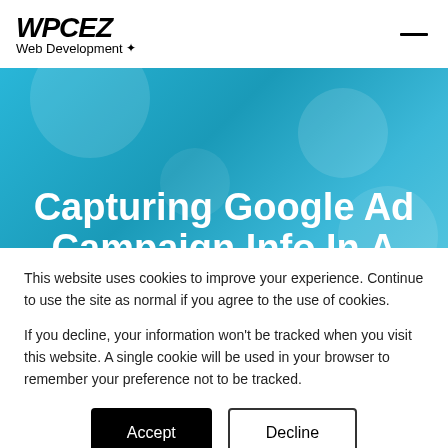WPCEZ Web Development
Capturing Google Ad Campaign Info In A WPCEZ Contact Form
This website uses cookies to improve your experience. Continue to use the site as normal if you agree to the use of cookies.

If you decline, your information won't be tracked when you visit this website. A single cookie will be used in your browser to remember your preference not to be tracked.
Accept
Decline